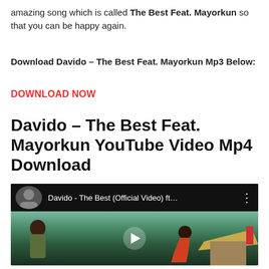amazing song which is called The Best Feat. Mayorkun so that you can be happy again.
Download Davido – The Best Feat. Mayorkun Mp3 Below:
DOWNLOAD NOW
Davido – The Best Feat. Mayorkun YouTube Video Mp4 Download
[Figure (screenshot): YouTube video embed showing Davido - The Best (Official Video) ft... with a scene of two men in an outdoor tropical setting, one wearing a green jacket and the other in red, with a thatched hut on the right. A play button is centered on the video.]